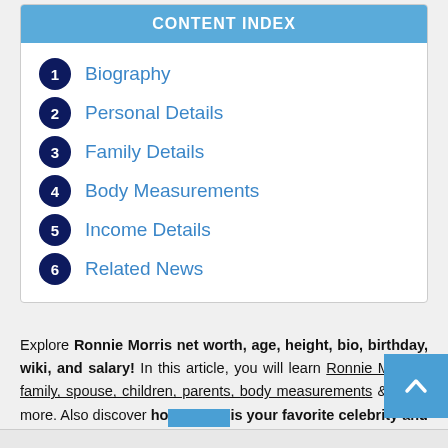CONTENT INDEX
1 Biography
2 Personal Details
3 Family Details
4 Body Measurements
5 Income Details
6 Related News
Explore Ronnie Morris net worth, age, height, bio, birthday, wiki, and salary! In this article, you will learn Ronnie Morris's family, spouse, children, parents, body measurements & much more. Also discover how is your favorite celebrity and how rich is Ronnie Mo…